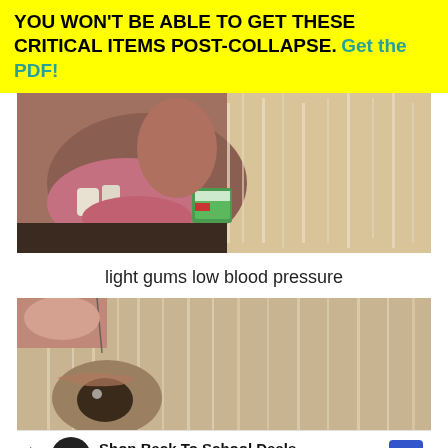YOU WON'T BE ABLE TO GET THESE CRITICAL ITEMS POST-COLLAPSE. Get the PDF!
[Figure (photo): Close-up of a dog's mouth showing teeth and gums, with fur and a green package visible]
light gums low blood pressure
[Figure (photo): Close-up of a dog's eye area with fur and a finger touching the skin]
Shop Back To School Deals Leesburg Premium Outlets